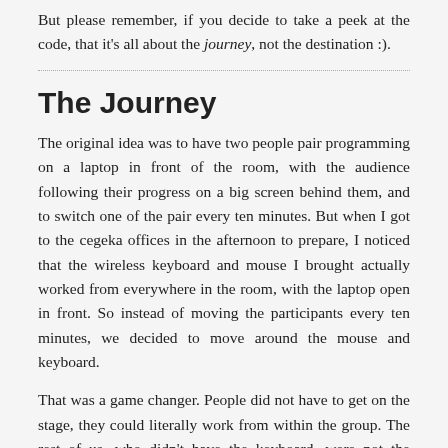But please remember, if you decide to take a peek at the code, that it's all about the journey, not the destination :).
The Journey
The original idea was to have two people pair programming on a laptop in front of the room, with the audience following their progress on a big screen behind them, and to switch one of the pair every ten minutes. But when I got to the cegeka offices in the afternoon to prepare, I noticed that the wireless keyboard and mouse I brought actually worked from everywhere in the room, with the laptop open in front. So instead of moving the participants every ten minutes, we decided to move around the mouse and keyboard.
That was a game changer. People did not have to get on the stage, they could literally work from within the group. The rest of us, who didn't have the keyboard, were not the audience but active participants in the learning that happened.